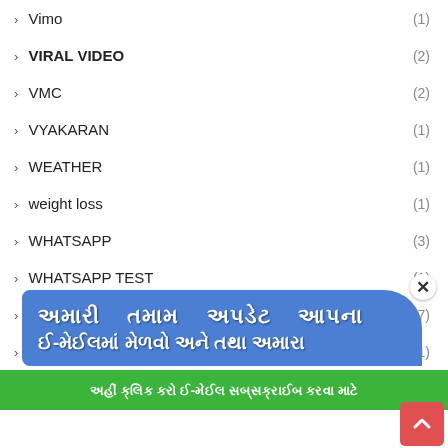› Vimo (1)
› VIRAL VIDEO (2)
› VMC (2)
› VYAKARAN (1)
› WEATHER (1)
› weight loss (1)
› WHATSAPP (3)
› WHATSAPP TEST (1)
› YOJNA (77)
› અમારા (1)
[Figure (screenshot): Blue banner with Gujarati text 'અમારી તમામ અપડેટ આપના ઈ-મેઈલ ઈન મેળવો...' and a green subscription bar below with Gujarati text. A close (×) button and red scroll-to-top arrow button are also visible.]